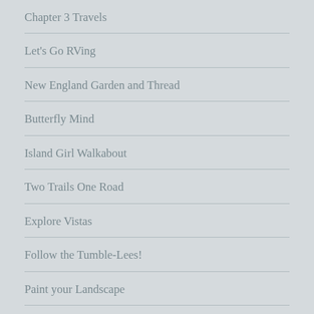Chapter 3 Travels
Let's Go RVing
New England Garden and Thread
Butterfly Mind
Island Girl Walkabout
Two Trails One Road
Explore Vistas
Follow the Tumble-Lees!
Paint your Landscape